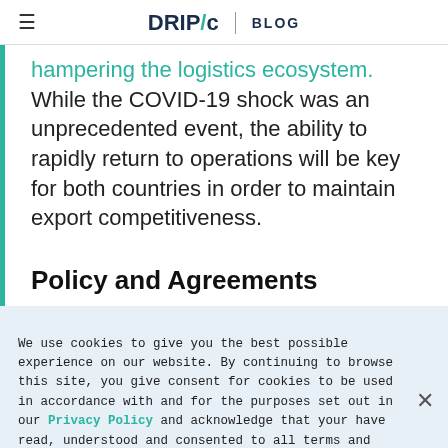DRIPic BLOG
hampering the logistics ecosystem. While the COVID-19 shock was an unprecedented event, the ability to rapidly return to operations will be key for both countries in order to maintain export competitiveness.
Policy and Agreements
We use cookies to give you the best possible experience on our website. By continuing to browse this site, you give consent for cookies to be used in accordance with and for the purposes set out in our Privacy Policy and acknowledge that your have read, understood and consented to all terms and conditions therein.
improvement, and government reforms